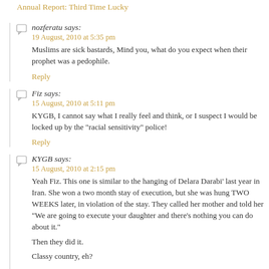Annual Report: Third Time Lucky
nozferatu says:
19 August, 2010 at 5:35 pm
Muslims are sick bastards, Mind you, what do you expect when their prophet was a pedophile.
Reply
Fiz says:
15 August, 2010 at 5:11 pm
KYGB, I cannot say what I really feel and think, or I suspect I would be locked up by the "racial sensitivity" police!
Reply
KYGB says:
15 August, 2010 at 2:15 pm
Yeah Fiz. This one is similar to the hanging of Delara Darabi' last year in Iran. She won a two month stay of execution, but she was hung TWO WEEKS later, in violation of the stay. They called her mother and told her "We are going to execute your daughter and there's nothing you can do about it."

Then they did it.

Classy country, eh?
Reply
Fiz says: